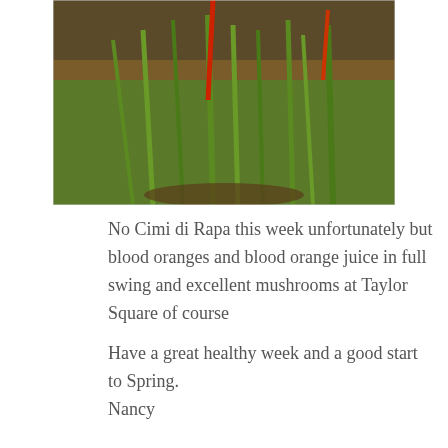[Figure (photo): Photograph of tall green grass-like plants with red stems, growing in a garden or wild setting with brown earth and foliage visible.]
No Cimi di Rapa this week unfortunately but blood oranges and blood orange juice in full swing and excellent mushrooms at Taylor Square of course
Have a great healthy week and a good start to Spring.
Nancy
Submit a Comment
Your email address will not be published. Required